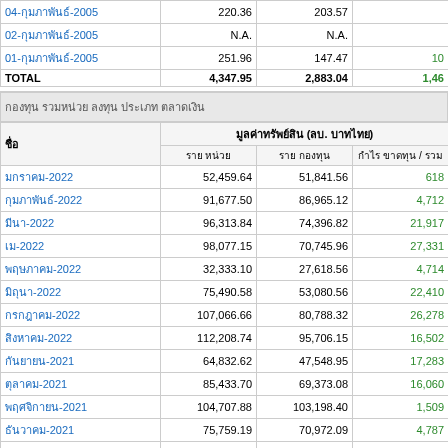| ชื่อ | ราคาเสนอขาย (บ. ต่อหน่วย) |  |  |
| --- | --- | --- | --- |
| 04-กุมภาพันธ์-2005 | 220.36 | 203.57 |  |
| 02-กุมภาพันธ์-2005 | N.A. | N.A. |  |
| 01-กุมภาพันธ์-2005 | 251.96 | 147.47 | 10 |
| TOTAL | 4,347.95 | 2,883.04 | 1,46 |
กองทุน รวมหน่วย ลงทุน ประเภท ตลาดเงิน
| ชื่อ | มูลค่าทรัพย์สิน (ลบ. บาทไทย) |  |  |
| --- | --- | --- | --- |
| มกราคม-2022 | 52,459.64 | 51,841.56 | 618 |
| กุมภาพันธ์-2022 | 91,677.50 | 86,965.12 | 4,712 |
| มีนา-2022 | 96,313.84 | 74,396.82 | 21,917 |
| เม-2022 | 98,077.15 | 70,745.96 | 27,331 |
| พฤษภาคม-2022 | 32,333.10 | 27,618.56 | 4,714 |
| มิถุนา-2022 | 75,490.58 | 53,080.56 | 22,410 |
| กรกฎาคม-2022 | 107,066.66 | 80,788.32 | 26,278 |
| สิงหาคม-2022 | 112,208.74 | 95,706.15 | 16,502 |
| กันยายน-2021 | 64,832.62 | 47,548.95 | 17,283 |
| ตุลาคม-2021 | 85,433.70 | 69,373.08 | 16,060 |
| พฤศจิกายน-2021 | 104,707.88 | 103,198.40 | 1,509 |
| ธันวาคม-2021 | 75,759.19 | 70,972.09 | 4,787 |
| มกราคม-2021 | 99,119.53 | 87,573.68 | 11,545 |
| กุมภา-2021 | 84,691.53 | 69,260.53 | 15,431 |
| มีน-2021 | 20,726.86 | 21,847.26 | -1,120 |
| เม-2021 | 74,835.88 | 74,676.77 | 159 |